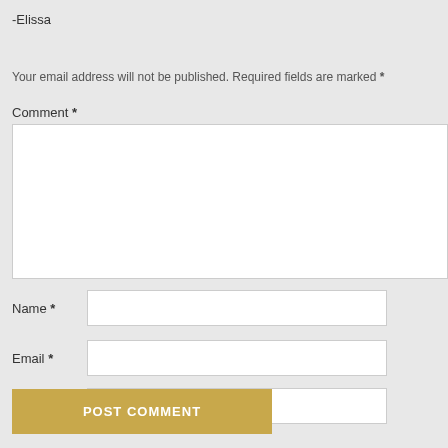-Elissa
Your email address will not be published. Required fields are marked *
Comment *
Name *
Email *
Website
POST COMMENT